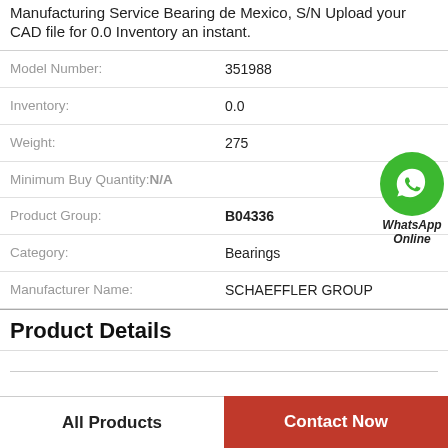Manufacturing Service Bearing de Mexico, S/N Upload your CAD file for 0.0 Inventory an instant.
| Field | Value |
| --- | --- |
| Model Number: | 351988 |
| Inventory: | 0.0 |
| Weight: | 275 |
| Minimum Buy Quantity: | N/A |
| Product Group: | B04336 |
| Category: | Bearings |
| Manufacturer Name: | SCHAEFFLER GROUP |
[Figure (logo): WhatsApp Online green circle badge with phone icon and text WhatsApp Online]
Product Details
All Products
Contact Now